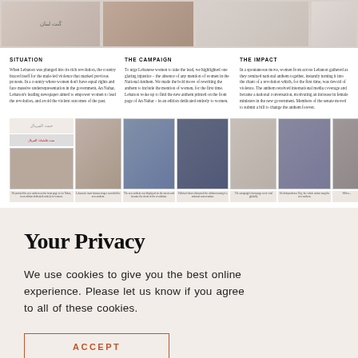[Figure (photo): Top photo strip showing hands/mugs with Arabic text]
SITUATION
When Lebanon was plunged into its rich revolution, the country braced itself for the male-led violence that marked previous protests. In a country where women don't have equal rights and face massive underrepresentation in the government, An Nahar, Lebanon's leading newspaper aimed to empower women to lead the revolution, and avoid the violent outcomes of the past.
THE CAMPAIGN
To urge Lebanese women to take the lead, we highlighted one glaring injustice – the absence of any mention of women in the National Anthem. We made the bold move of rewriting the anthem to include the mention of women, for the first time. Lebanon woke up to find the new anthem printed on the front page of An Nahar – in an edition dedicated entirely to women.
THE IMPACT
In a spontaneous move, women from across Lebanon gathered as they remixed national anthem together, instantly turning it into the chant of a revolution which, for the first time, was devoid of violence. The anthem received international media coverage and became a national conversation, motivating an increase in female ministers in the new government. Members of the senate moved to submit a bill to change the anthem forever.
[Figure (photo): Grid of photos showing campaign coverage: newspaper front pages, protests, TV coverage, social media posts, Lebanese Independence Day celebrations]
Your Privacy
We use cookies to give you the best online experience. Please let us know if you agree to all of these cookies.
ACCEPT